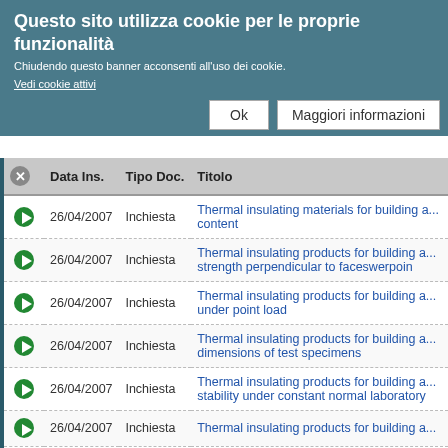Questo sito utilizza cookie per le proprie funzionalità
Chiudendo questo banner acconsenti all'uso dei cookie.
Vedi cookie attivi
Ok | Maggiori informazioni
|  | Data Ins. | Tipo Doc. | Titolo |
| --- | --- | --- | --- |
| ● | 26/04/2007 | Inchiesta | Thermal insulating materials for building a... content |
| ● | 26/04/2007 | Inchiesta | Thermal insulating products for building a... strength perpendicular to faceswerpoin |
| ● | 26/04/2007 | Inchiesta | Thermal insulating products for building a... under point load |
| ● | 26/04/2007 | Inchiesta | Thermal insulating products for building a... dimensions of test specimens |
| ● | 26/04/2007 | Inchiesta | Thermal insulating products for building a... stability under constant normal laboratory |
| ● | 26/04/2007 | Inchiesta | Thermal insulating products for building a... |
| ● | 26/04/2007 | Inchiesta | Thermal insulating products for building a... |
| ● | 26/04/2007 | Inchiesta | Thermal insulating products for building a... floating-floor insulating products |
| ● | 26/04/2007 | Inchiesta | Thermal insulating products for building a... strength parallel to facesms-p |